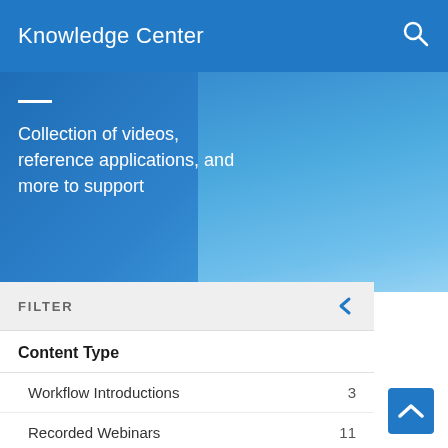Knowledge Center
Collection of videos, reference applications, and more to support
FILTER
Content Type
Workflow Introductions  3
Recorded Webinars  11
How To  0
Industry Use Cases  46
✔ Success Stories  29
Reference Applications  4
Whitepapers  2